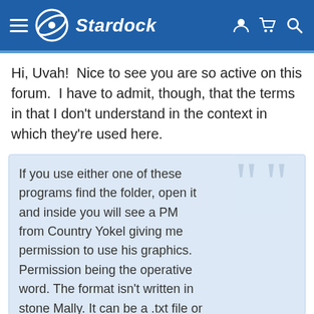Stardock
Hi, Uvah!  Nice to see you are so active on this forum.  I have to admit, though, that the terms in that I don't understand in the context in which they're used here.
If you use either one of these programs find the folder, open it and inside you will see a PM from Country Yokel giving me permission to use his graphics. Permission being the operative word. The format isn't written in stone Mally. It can be a .txt file or a Pm, email etc. like DrJBHL and Jafo pointed out. As long as you have permission to use them you can upload to the site. As for brushes, same thing. Anything whether its a